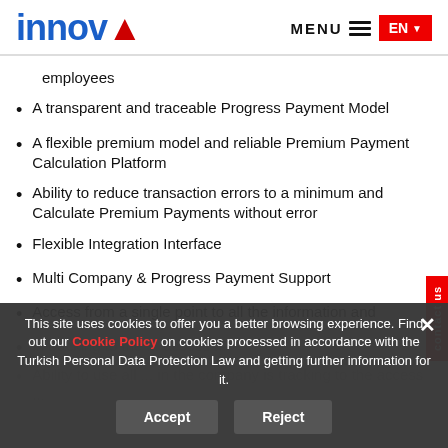INNOVA | MENU | EN
employees
A transparent and traceable Progress Payment Model
A flexible premium model and reliable Premium Payment Calculation Platform
Ability to reduce transaction errors to a minimum and Calculate Premium Payments without error
Flexible Integration Interface
Multi Company & Progress Payment Support
Access from a single point to all the information and
Ability to use all ... in the company is tracking to the ... access ...
This site uses cookies to offer you a better browsing experience. Find out our Cookie Policy on cookies processed in accordance with the Turkish Personal Data Protection Law and getting further information for it.